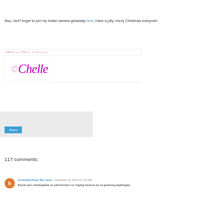Also, don't forget to join my Instax camera giveaway here, Have a jolly, merry Christmas everyone!
[Figure (illustration): Signature image with decorative top bar and 'Chelle' logo with heart in purple cursive font]
[Figure (screenshot): Share button section with light gray background and a blue 'Share' button]
117 comments:
Arminda Puno De Leon  December 16, 2014 at 7:16 PM
Bawat taon nakakagalak sa pakiramdam na maging kasama ka sa ganitong pagbibigay!